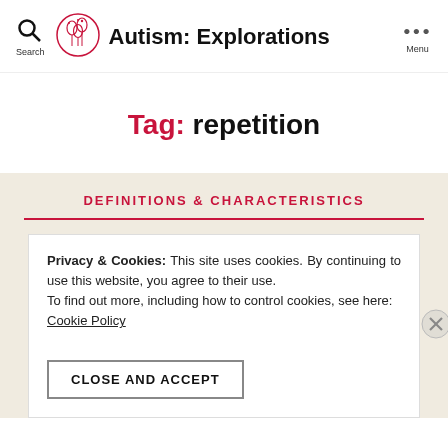Search | Autism: Explorations | Menu
Tag: repetition
DEFINITIONS & CHARACTERISTICS
Privacy & Cookies: This site uses cookies. By continuing to use this website, you agree to their use.
To find out more, including how to control cookies, see here:
Cookie Policy
CLOSE AND ACCEPT